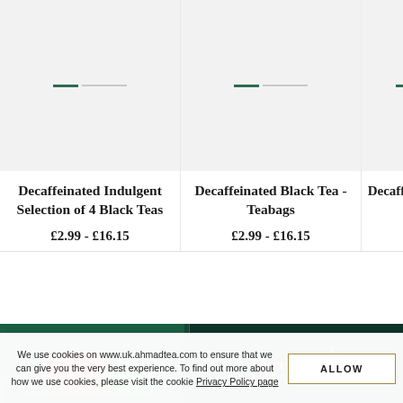[Figure (photo): Product card image placeholder (light grey background with green and grey loader bar) for Decaffeinated Indulgent Selection of 4 Black Teas]
Decaffeinated Indulgent Selection of 4 Black Teas
£2.99 - £16.15
[Figure (photo): Product card image placeholder (light grey background with green and grey loader bar) for Decaffeinated Black Tea - Teabags]
Decaffeinated Black Tea - Teabags
£2.99 - £16.15
[Figure (photo): Partial product card image placeholder (light grey background with green loader bar) for Decaffeinated Tea (partially visible)]
Decaffei... Tea - T...
£2.99
[Figure (photo): Dark green promotional banner showing decorative tea tins on the left and cursive gold script text on a dark green background on the right]
We use cookies on www.uk.ahmadtea.com to ensure that we can give you the very best experience. To find out more about how we use cookies, please visit the cookie Privacy Policy page
ALLOW